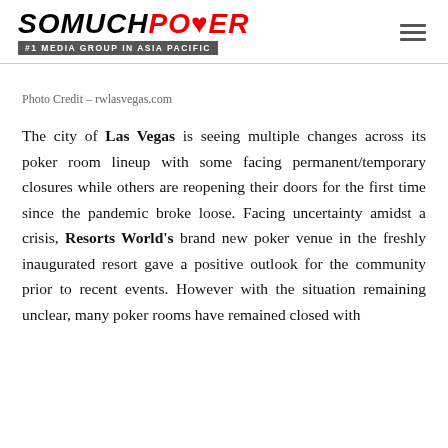SOMUCHPOKER #1 MEDIA GROUP IN ASIA PACIFIC
Photo Credit – rwlasvegas.com
The city of Las Vegas is seeing multiple changes across its poker room lineup with some facing permanent/temporary closures while others are reopening their doors for the first time since the pandemic broke loose. Facing uncertainty amidst a crisis, Resorts World's brand new poker venue in the freshly inaugurated resort gave a positive outlook for the community prior to recent events. However with the situation remaining unclear, many poker rooms have remained closed with